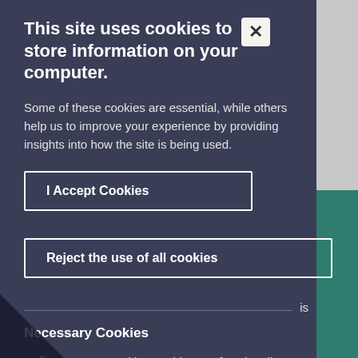This site uses cookies to store information on your computer.
Some of these cookies are essential, while others help us to improve your experience by providing insights into how the site is being used.
I Accept Cookies
Reject the use of all cookies
Necessary Cookies
ecessary cookies enable core functionality such as navigation and access to secure areas.